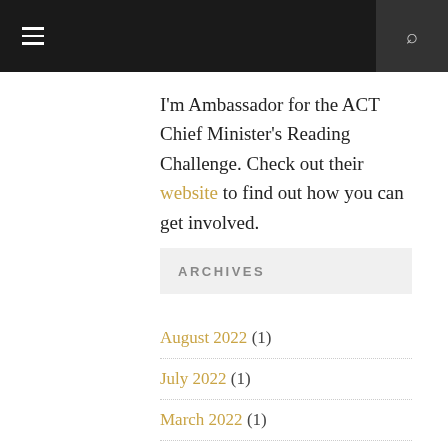≡  🔍
I'm Ambassador for the ACT Chief Minister's Reading Challenge. Check out their website to find out how you can get involved.
ARCHIVES
August 2022 (1)
July 2022 (1)
March 2022 (1)
September 2021 (1)
July 2021 (1)
June 2021 (1)
April 2021 (1)